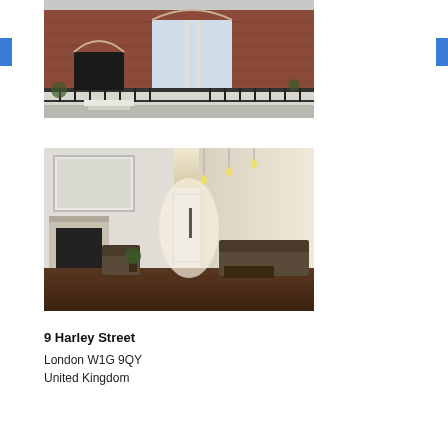[Figure (photo): Exterior photo of a Victorian red-brick building with arched windows and iron railings at 9 Harley Street, London]
[Figure (photo): Interior photo of a modern reception/waiting area with dark wood floors, pendant lights, fireplace, and leather seating]
9 Harley Street
London W1G 9QY
United Kingdom